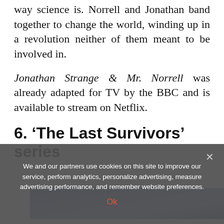way science is. Norrell and Jonathan band together to change the world, winding up in a revolution neither of them meant to be involved in.
Jonathan Strange & Mr. Norrell was already adapted for TV by the BBC and is available to stream on Netflix.
6. ‘The Last Survivors’ series
[Figure (photo): Partial view of a book cover with a dark blue/purple starry sky background]
We and our partners use cookies on this site to improve our service, perform analytics, personalize advertising, measure advertising performance, and remember website preferences.